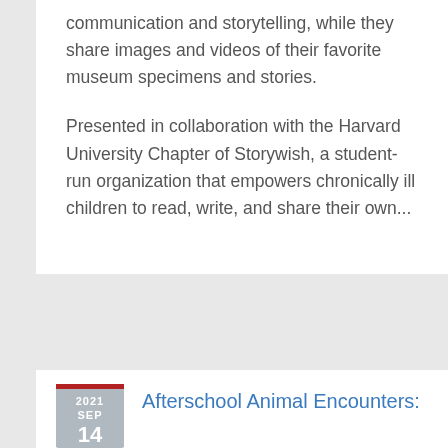communication and storytelling, while they share images and videos of their favorite museum specimens and stories.

Presented in collaboration with the Harvard University Chapter of Storywish, a student-run organization that empowers chronically ill children to read, write, and share their own...
Afterschool Animal Encounters: